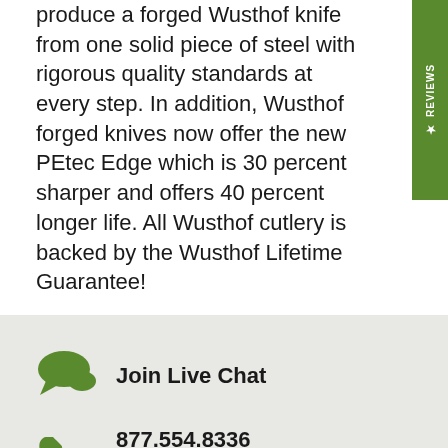produce a forged Wusthof knife from one solid piece of steel with rigorous quality standards at every step. In addition, Wusthof forged knives now offer the new PEtec Edge which is 30 percent sharper and offers 40 percent longer life. All Wusthof cutlery is backed by the Wusthof Lifetime Guarantee!
[Figure (illustration): Green chat bubble icon]
Join Live Chat
[Figure (illustration): Green phone icon]
877.554.8336
Monday — Friday 9:00 AM — 5:00PM EST
[Figure (illustration): Green envelope/email icon]
support@discovergourmet.com